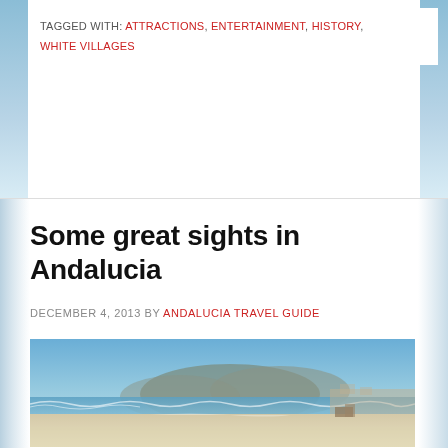TAGGED WITH: ATTRACTIONS, ENTERTAINMENT, HISTORY, WHITE VILLAGES
Some great sights in Andalucia
DECEMBER 4, 2013 BY ANDALUCIA TRAVEL GUIDE
[Figure (photo): Beach scene with sandy shore, ocean waves, and mountains in the background under a clear blue sky]